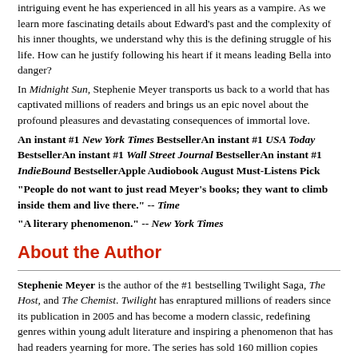intriguing event he has experienced in all his years as a vampire. As we learn more fascinating details about Edward's past and the complexity of his inner thoughts, we understand why this is the defining struggle of his life. How can he justify following his heart if it means leading Bella into danger?
In Midnight Sun, Stephenie Meyer transports us back to a world that has captivated millions of readers and brings us an epic novel about the profound pleasures and devastating consequences of immortal love.
An instant #1 New York Times BestsellerAn instant #1 USA Today BestsellerAn instant #1 Wall Street Journal BestsellerAn instant #1 IndieBound BestsellerApple Audiobook August Must-Listens Pick
"People do not want to just read Meyer's books; they want to climb inside them and live there." -- Time
"A literary phenomenon." -- New York Times
About the Author
Stephenie Meyer is the author of the #1 bestselling Twilight Saga, The Host, and The Chemist. Twilight has enraptured millions of readers since its publication in 2005 and has become a modern classic, redefining genres within young adult literature and inspiring a phenomenon that has had readers yearning for more. The series has sold 160 million copies